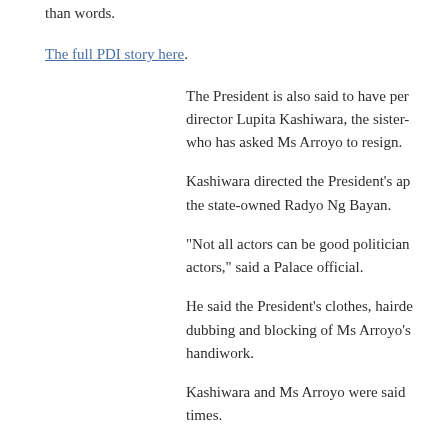than words.
The full PDI story here.
The President is also said to have per director Lupita Kashiwara, the sister- who has asked Ms Arroyo to resign.
Kashiwara directed the President's ap the state-owned Radyo Ng Bayan.
"Not all actors can be good politician actors," said a Palace official.
He said the President's clothes, hairde dubbing and blocking of Ms Arroyo's handiwork.
Kashiwara and Ms Arroyo were said times.
"Lupita was very specific in her instr